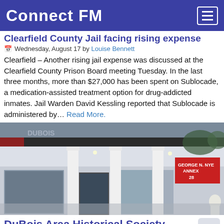Connect FM
Clearfield County Jail facing rising expense
Wednesday, August 17 by Louise Bennett
Clearfield – Another rising jail expense was discussed at the Clearfield County Prison Board meeting Tuesday. In the last three months, more than $27,000 has been spent on Sublocade, a medication-assisted treatment option for drug-addicted inmates. Jail Warden David Kessling reported that Sublocade is administered by... Read More.
[Figure (photo): Exterior photo of a building with white columns showing a sign reading George N. Nye Annex, 28]
DuBois Area Historical Society receives $1,000 grant
Wednesday, August 17 by Louise Bennett